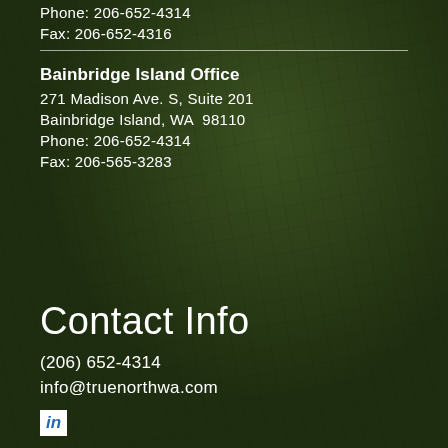Phone: 206-652-4314
Fax: 206-652-4316
Bainbridge Island Office
271 Madison Ave. S, Suite 201
Bainbridge Island, WA  98110
Phone: 206-652-4314
Fax: 206-565-3283
Contact Info
(206) 652-4314
info@truenorthwa.com
[Figure (logo): LinkedIn logo icon in white box]
FORM CRS
ADV Part 2A